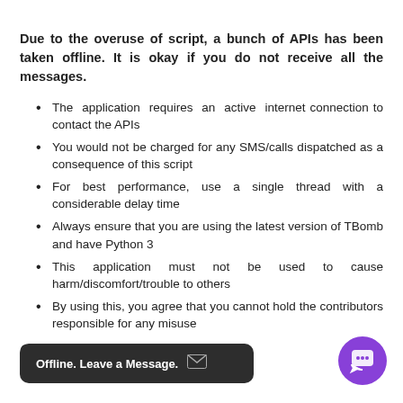Due to the overuse of script, a bunch of APIs has been taken offline. It is okay if you do not receive all the messages.
The application requires an active internet connection to contact the APIs
You would not be charged for any SMS/calls dispatched as a consequence of this script
For best performance, use a single thread with a considerable delay time
Always ensure that you are using the latest version of TBomb and have Python 3
This application must not be used to cause harm/discomfort/trouble to others
By using this, you agree that you cannot hold the contributors responsible for any misuse
Compatibility
by typing in
[Figure (screenshot): Dark rounded popup overlay reading 'Offline. Leave a Message.' with an envelope icon]
[Figure (illustration): Purple circular chat button with a smiley/chat icon in the bottom right corner]